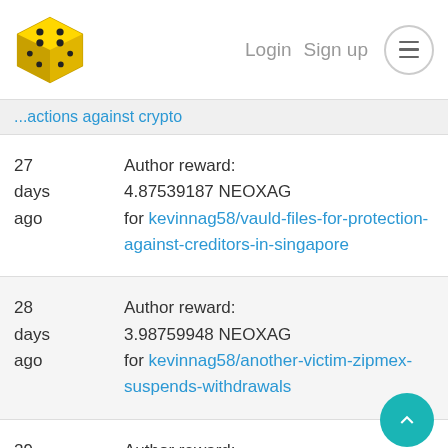Login  Sign up
...actions against crypto
27 days ago — Author reward: 4.87539187 NEOXAG for kevinnag58/vauld-files-for-protection-against-creditors-in-singapore
28 days ago — Author reward: 3.98759948 NEOXAG for kevinnag58/another-victim-zipmex-suspends-withdrawals
29 days — Author reward: 8.24044370 NEOXAG